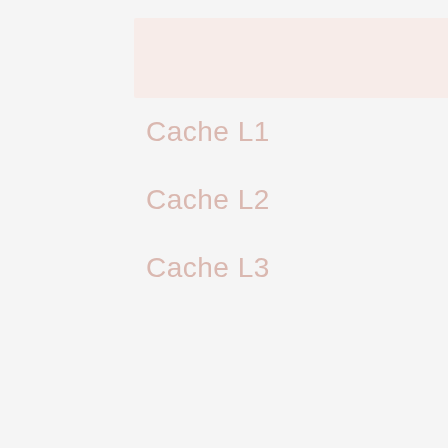|  |  |
| --- | --- |
| Cache L1 | 64K (current) |
| Cache L2 | 256K (per core) |
| Cache L3 | 30MB (shared) |